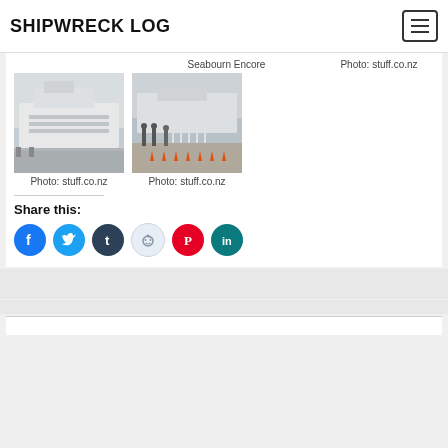SHIPWRECK LOG
Seabourn Encore
Photo: stuff.co.nz
[Figure (photo): Cruise ship docked at port, white hull, overcast sky]
Photo: stuff.co.nz
[Figure (photo): People queuing at port with orange traffic cones, cruise ship in background]
Photo: stuff.co.nz
Share this:
[Figure (infographic): Social share icons: Facebook, Twitter, Tumblr, Reddit, Pinterest, LinkedIn]